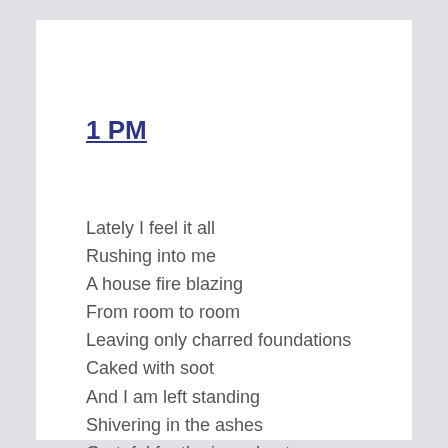1 PM
Lately I feel it all
Rushing into me
A house fire blazing
From room to room
Leaving only charred foundations
Caked with soot
And I am left standing
Shivering in the ashes
Grateful for the in and out